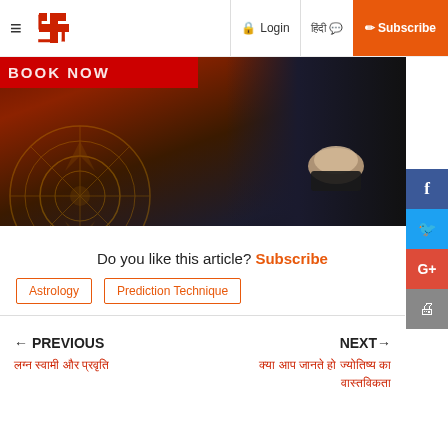≡ [logo] Login [Hindi text] Subscribe
[Figure (photo): Hero image with dark mandala/astrology background and a person in a suit with hands clasped, with a red 'BOOK NOW' banner at top]
Do you like this article? Subscribe
Astrology
Prediction Technique
← PREVIOUS
हिंदी शीर्षक पिछला लेख
NEXT→
हिंदी में अगला लेख का शीर्षक यहाँ